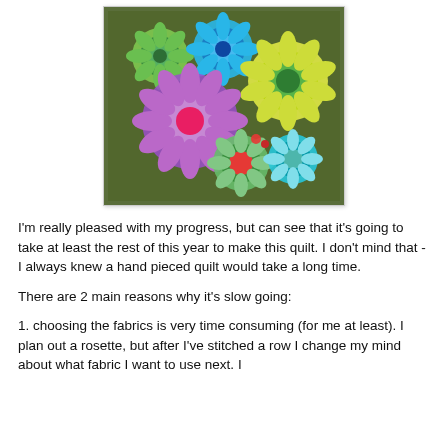[Figure (photo): Colorful quilted rosettes/medallions laid out on grass, featuring multiple circular flower-like quilt pieces in green, blue, purple, yellow, and pink fabrics]
I'm really pleased with my progress, but can see that it's going to take at least the rest of this year to make this quilt. I don't mind that - I always knew a hand pieced quilt would take a long time.
There are 2 main reasons why it's slow going:
1. choosing the fabrics is very time consuming (for me at least). I plan out a rosette, but after I've stitched a row I change my mind about what fabric I want to use next. I